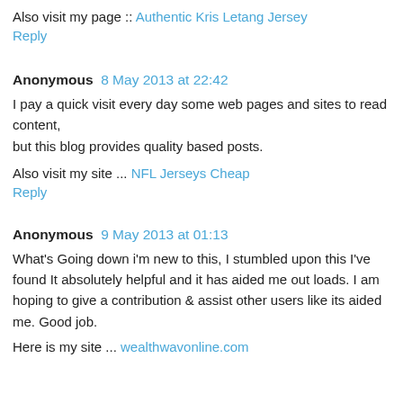Also visit my page :: Authentic Kris Letang Jersey
Reply
Anonymous 8 May 2013 at 22:42
I pay a quick visit every day some web pages and sites to read content,
but this blog provides quality based posts.
Also visit my site ... NFL Jerseys Cheap
Reply
Anonymous 9 May 2013 at 01:13
What's Going down i'm new to this, I stumbled upon this I've found It absolutely helpful and it has aided me out loads. I am hoping to give a contribution & assist other users like its aided me. Good job.
Here is my site ... wealthwavonline.com